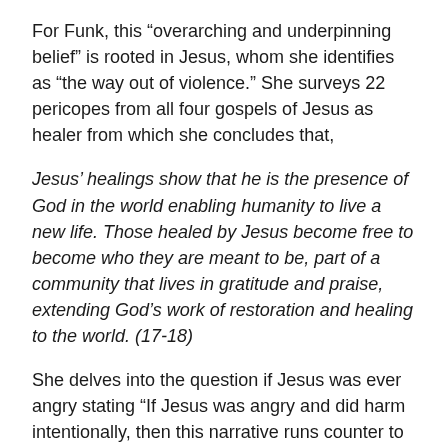For Funk, this “overarching and underpinning belief” is rooted in Jesus, whom she identifies as “the way out of violence.” She surveys 22 pericopes from all four gospels of Jesus as healer from which she concludes that,
Jesus’ healings show that he is the presence of God in the world enabling humanity to live a new life. Those healed by Jesus become free to become who they are meant to be, part of a community that lives in gratitude and praise, extending God’s work of restoration and healing to the world. (17-18)
She delves into the question if Jesus was ever angry stating “If Jesus was angry and did harm intentionally, then this narrative runs counter to all episodes where Jesus supported, healed, and restored life.” (18)